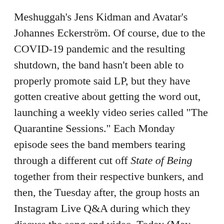Meshuggah's Jens Kidman and Avatar's Johannes Eckerström. Of course, due to the COVID-19 pandemic and the resulting shutdown, the band hasn't been able to properly promote said LP, but they have gotten creative about getting the word out, launching a weekly video series called "The Quarantine Sessions." Each Monday episode sees the band members tearing through a different cut off State of Being together from their respective bunkers, and then, the Tuesday after, the group hosts an Instagram Live Q&A during which they discuss the song and video. Today (May 11th), Imonolith have teamed with Revolver to unleash their latest quarantine playthrough, of State of Being standout "Dig" — watch it above, and read singer Jon Howard's comments below.